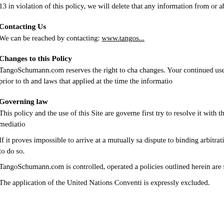13 in violation of this policy, we will delete that any information from or about anyone under 13.
Contacting Us
We can be reached by contacting: www.tangos...
Changes to this Policy
TangoSchumann.com reserves the right to cha... changes. Your continued use of our site followi... those changes. Information collected prior to th... and laws that applied at the time the informatio...
Governing law
This policy and the use of this Site are governe... first try to resolve it with the help of a mutually a... than attorney fees associated with the mediatio...
If it proves impossible to arrive at a mutually sa... dispute to binding arbitration in London, UK. Ju... entered in any court with jurisdiction to do so.
TangoSchumann.com is controlled, operated a... policies outlined herein are not intended to and... of any party.
The application of the United Nations Conventi... is expressly excluded.